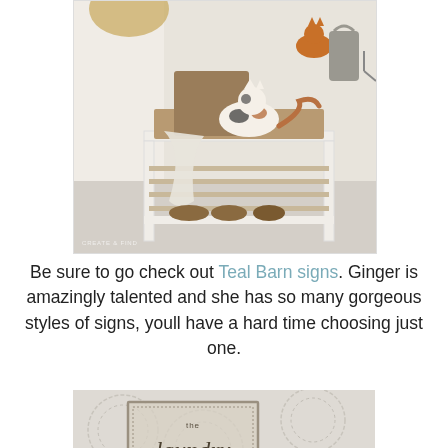[Figure (photo): A cat standing on a bench with burlap cushion in an entryway with shoe rack below, another cat visible on wall hook, and a macrame rug hanging on the wall. Watermark text visible at bottom left.]
Be sure to go check out Teal Barn signs. Ginger is amazingly talented and she has so many gorgeous styles of signs, youll have a hard time choosing just one.
[Figure (photo): A laundry room sign with script lettering reading 'the laundry' on a lace-patterned background.]